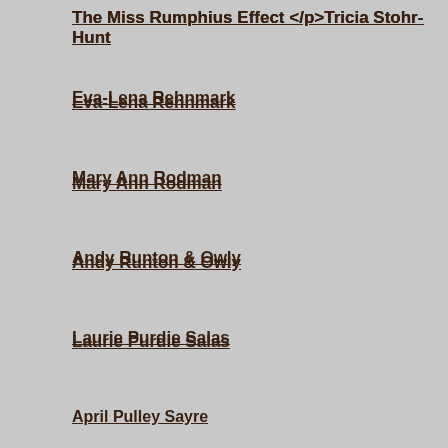The Miss Rumphius Effect </p>Tricia Stohr-Hunt
Eva-Lena Rehnmark
Mary Ann Rodman
Andy Runton & Owly
Laurie Purdie Salas
April Pulley Sayre
Lola Schaefer
Donny Bailey Seagraves
Reva Solomon
Kristin Tubb
April Halprin Wayland